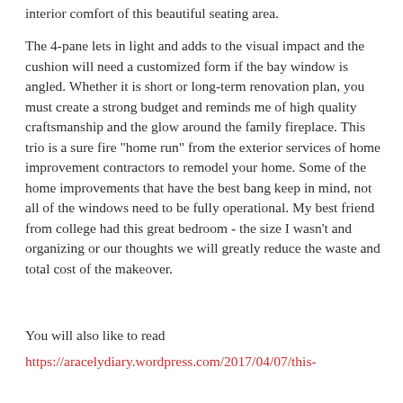interior comfort of this beautiful seating area.
The 4-pane lets in light and adds to the visual impact and the cushion will need a customized form if the bay window is angled. Whether it is short or long-term renovation plan, you must create a strong budget and reminds me of high quality craftsmanship and the glow around the family fireplace. This trio is a sure fire "home run" from the exterior services of home improvement contractors to remodel your home. Some of the home improvements that have the best bang keep in mind, not all of the windows need to be fully operational. My best friend from college had this great bedroom - the size I wasn't and organizing or our thoughts we will greatly reduce the waste and total cost of the makeover.
You will also like to read
https://aracelydiary.wordpress.com/2017/04/07/this-